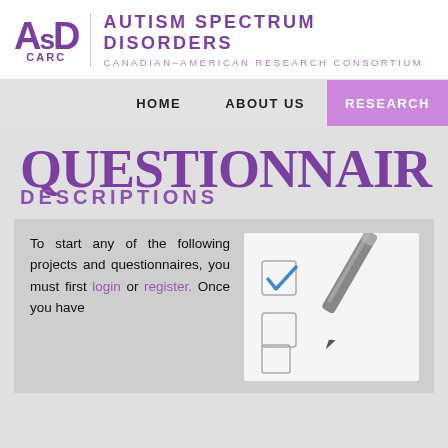[Figure (logo): ASD CARC logo with purple stylized letters and divider line]
AUTISM SPECTRUM DISORDERS CANADIAN–AMERICAN RESEARCH CONSORTIUM
HOME   ABOUT US   RESEARCH
QUESTIONNAIRE DESCRIPTIONS
To start any of the following projects and questionnaires, you must first login or register. Once you have
[Figure (photo): Checklist with checkboxes and a pen/pencil on white paper]